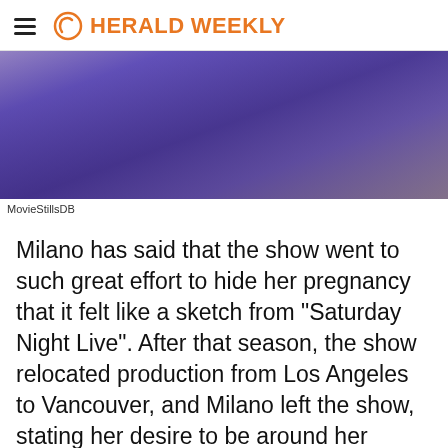HERALDWEEKLY
[Figure (photo): Woman in purple/blue top, photo credit: MovieStillsDB]
MovieStillsDB
Milano has said that the show went to such great effort to hide her pregnancy that it felt like a sketch from "Saturday Night Live". After that season, the show relocated production from Los Angeles to Vancouver, and Milano left the show, stating her desire to be around her family.